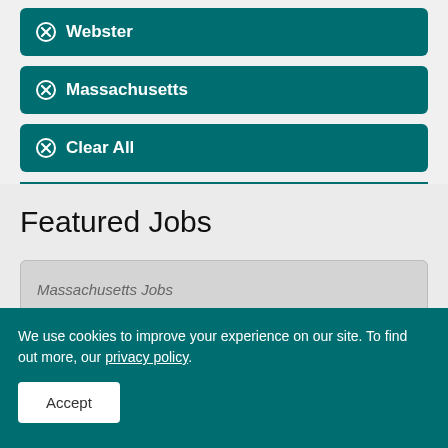✕ Webster
✕ Massachusetts
✕ Clear All
Featured Jobs
Massachusetts Jobs
We use cookies to improve your experience on our site. To find out more, our privacy policy.
Accept